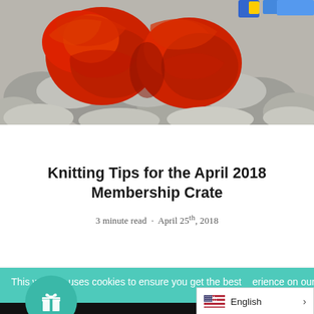[Figure (photo): Skeins of red yarn resting on grey gravel/rocks, with colorful items visible in the top right corner.]
Knitting Tips for the April 2018 Membership Crate
3 minute read · April 25th, 2018
This website uses cookies to ensure you get the best experience on our website. Learn more
Accept